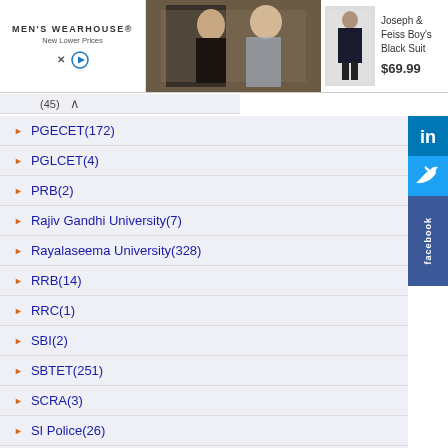[Figure (screenshot): Men's Wearhouse advertisement banner showing a couple in formal wear and a boy's black suit priced at $69.99]
(45)
PGECET(172)
PGLCET(4)
PRB(2)
Rajiv Gandhi University(7)
Rayalaseema University(328)
RRB(14)
RRC(1)
SBI(2)
SBTET(251)
SCRA(3)
SI Police(26)
SLC(1)
SNAP(5)